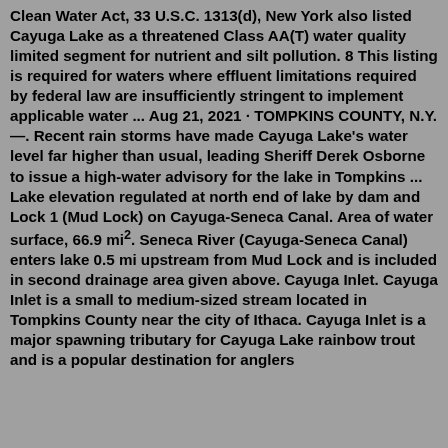Clean Water Act, 33 U.S.C. 1313(d), New York also listed Cayuga Lake as a threatened Class AA(T) water quality limited segment for nutrient and silt pollution. 8 This listing is required for waters where effluent limitations required by federal law are insufficiently stringent to implement applicable water ... Aug 21, 2021 · TOMPKINS COUNTY, N.Y.—. Recent rain storms have made Cayuga Lake's water level far higher than usual, leading Sheriff Derek Osborne to issue a high-water advisory for the lake in Tompkins ... Lake elevation regulated at north end of lake by dam and Lock 1 (Mud Lock) on Cayuga-Seneca Canal. Area of water surface, 66.9 mi². Seneca River (Cayuga-Seneca Canal) enters lake 0.5 mi upstream from Mud Lock and is included in second drainage area given above. Cayuga Inlet. Cayuga Inlet is a small to medium-sized stream located in Tompkins County near the city of Ithaca. Cayuga Inlet is a major spawning tributary for Cayuga Lake rainbow trout and is a popular destination for anglers